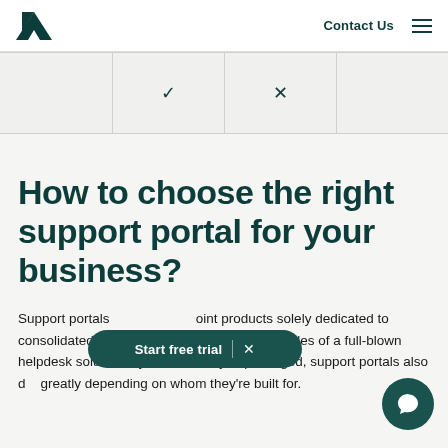Zendesk logo | Contact Us | Menu
|  | ✓ | ✗ |  |
How to choose the right support portal for your business?
Support portals range from standalone point products solely dedicated to consolidated communication to separate modules of a full-blown helpdesk solution. Beyond how they're packaged, support portals also differ greatly depending on whom they're built for.